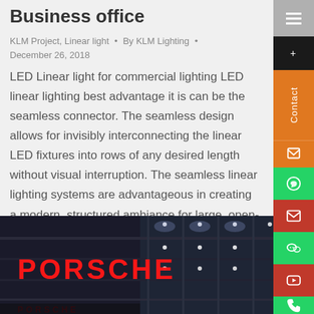Business office
KLM Project, Linear light • By KLM Lighting • December 26, 2018
LED Linear light for commercial lighting LED linear lighting best advantage it is can be the seamless connector. The seamless design allows for invisibly interconnecting the linear LED fixtures into rows of any desired length without visual interruption. The seamless linear lighting systems are advantageous in creating a modern, structured ambiance for large, open-plan buildings whereas...
[Figure (photo): Porsche dealership building exterior at night with illuminated red PORSCHE sign and glass facade with lighting]